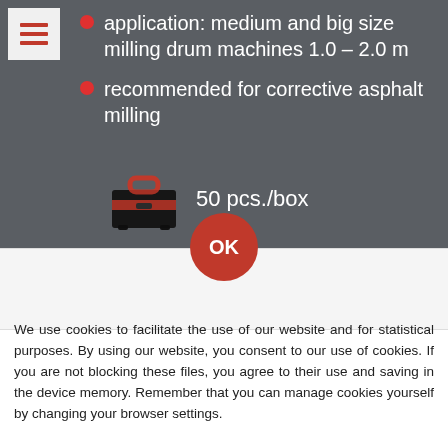[Figure (infographic): Dark grey panel with hamburger menu icon (red bars on light background) in top-left corner]
application: medium and big size milling drum machines 1.0 – 2.0 m
recommended for corrective asphalt milling
[Figure (illustration): Toolbox icon (black box with red accents) representing packaging]
50 pcs./box
[Figure (infographic): Red circular OK button]
We use cookies to facilitate the use of our website and for statistical purposes. By using our website, you consent to our use of cookies. If you are not blocking these files, you agree to their use and saving in the device memory. Remember that you can manage cookies yourself by changing your browser settings.